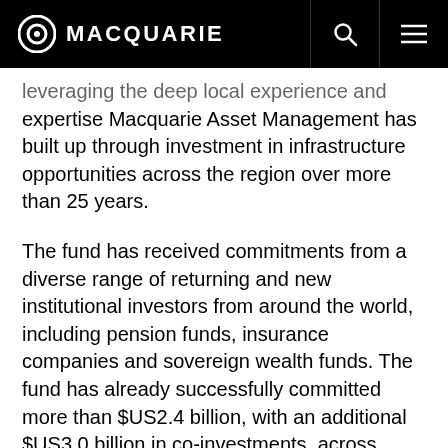MACQUARIE
leveraging the deep local experience and expertise Macquarie Asset Management has built up through investment in infrastructure opportunities across the region over more than 25 years.
The fund has received commitments from a diverse range of returning and new institutional investors from around the world, including pension funds, insurance companies and sovereign wealth funds. The fund has already successfully committed more than $US2.4 billion, with an additional $US3.0 billion in co-investments, across seven locally-sourced